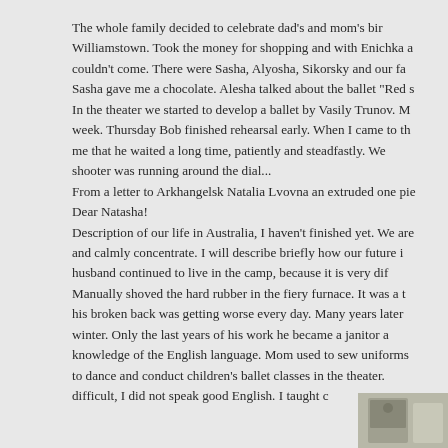The whole family decided to celebrate dad's and mom's birthday in Williamstown. Took the money for shopping and with Enichka a couldn't come. There were Sasha, Alyosha, Sikorsky and our fa Sasha gave me a chocolate. Alesha talked about the ballet "Red s In the theater we started to develop a ballet by Vasily Trunov. M week. Thursday Bob finished rehearsal early. When I came to th me that he waited a long time, patiently and steadfastly. We shooter was running around the dial... From a letter to Arkhangelsk Natalia Lvovna an extruded one pie Dear Natasha! Description of our life in Australia, I haven't finished yet. We are and calmly concentrate. I will describe briefly how our future i husband continued to live in the camp, because it is very di Manually shoved the hard rubber in the fiery furnace. It was a t his broken back was getting worse every day. Many years later winter. Only the last years of his work he became a janitor a knowledge of the English language. Mom used to sew uniforms to dance and conduct children's ballet classes in the theater. difficult, I did not speak good English. I taught c
[Figure (photo): A photo partially visible at bottom right corner of the page, appearing to show a person or scene, partially obscured.]